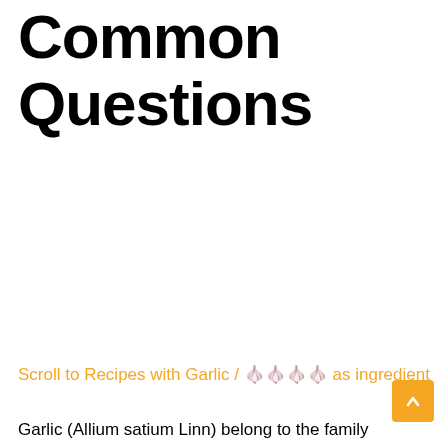Common Questions
Scroll to Recipes with Garlic / ‍‍‍‍ as ingredient
Garlic (Allium satium Linn) belong to the family